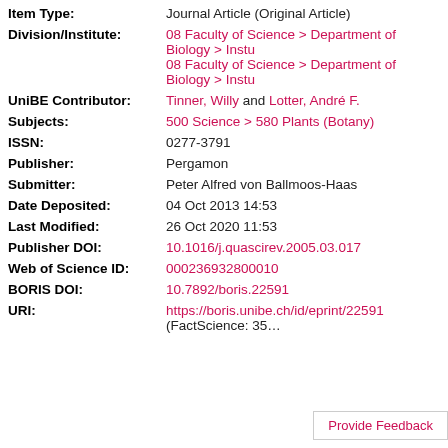Item Type: Journal Article (Original Article)
Division/Institute: 08 Faculty of Science > Department of Biology > Instu 08 Faculty of Science > Department of Biology > Instu
UniBE Contributor: Tinner, Willy and Lotter, André F.
Subjects: 500 Science > 580 Plants (Botany)
ISSN: 0277-3791
Publisher: Pergamon
Submitter: Peter Alfred von Ballmoos-Haas
Date Deposited: 04 Oct 2013 14:53
Last Modified: 26 Oct 2020 11:53
Publisher DOI: 10.1016/j.quascirev.2005.03.017
Web of Science ID: 000236932800010
BORIS DOI: 10.7892/boris.22591
URI: https://boris.unibe.ch/id/eprint/22591 (FactScience: 35…)